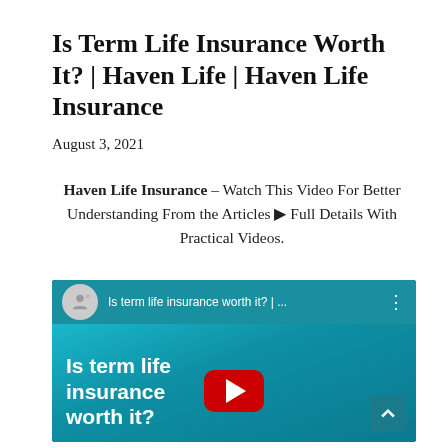Is Term Life Insurance Worth It? | Haven Life | Haven Life Insurance
August 3, 2021
Haven Life Insurance – Watch This Video For Better Understanding From the Articles ▶ Full Details With Practical Videos.
[Figure (screenshot): YouTube video embed showing 'Is term life insurance worth it? | ...' with a teal/blue thumbnail background displaying white bold text 'Is term life insurance worth it?' and a red YouTube play button in the center.]